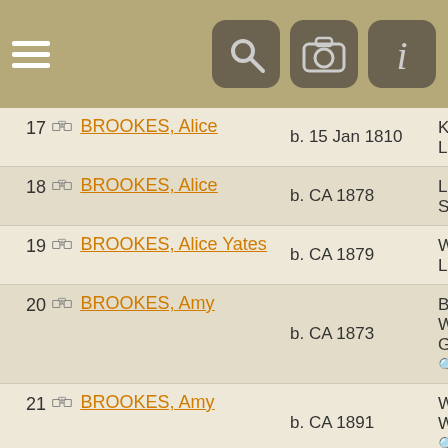[Figure (screenshot): Navigation header bar with hamburger menu icon and three icon buttons (search, camera, info)]
| # | Name | Date | Place |
| --- | --- | --- | --- |
| 17 | BROOKES, Alice | b. 15 Jan 1810 | Kearsley, Lancashi... |
| 18 | BROOKES, Alice | b. CA 1878 | Leek, Staffordsh... |
| 19 | BROOKES, Alice Yates | b. CA 1879 | Whitefield, Lancashi... |
| 20 | BROOKES, Amy | b. CA 1873 | Battersea, Wandswo... Greater L... |
| 21 | BROOKES, Amy | b. CA 1891 | Wolverley, Worceste... |
| 22 | BROOKES, Ann | b. CA 1837 | Sheffield, Yorkshire |
| 23 | BROOKES, Ann | b. CA 1840 | Kinver, Staffordsh... |
| 24 | BROOKES, Ann | b. 28 Jan 1844 | Huntingto... Herefords... |
| 25 | BROOKES, Ann | b. CA 1873 | Knaresbo... |